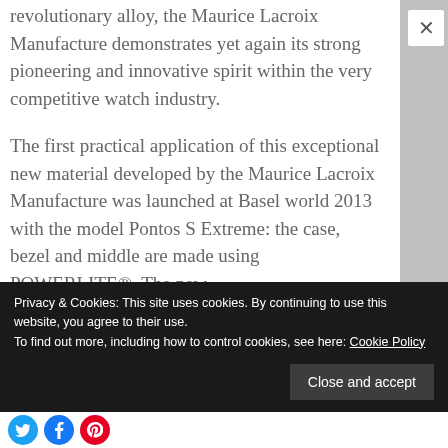revolutionary alloy, the Maurice Lacroix Manufacture demonstrates yet again its strong pioneering and innovative spirit within the very competitive watch industry.
The first practical application of this exceptional new material developed by the Maurice Lacroix Manufacture was launched at Basel world 2013 with the model Pontos S Extreme: the case, bezel and middle are made using POWERLITE®. The new...
Privacy & Cookies: This site uses cookies. By continuing to use this website, you agree to their use.
To find out more, including how to control cookies, see here: Cookie Policy
Close and accept